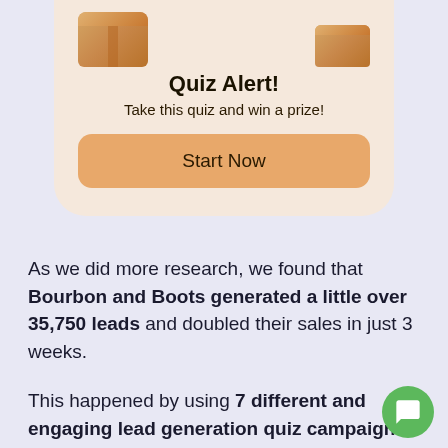[Figure (illustration): A promotional card with gift box illustrations at the top, showing a quiz alert with a Start Now button. Light peach/beige card with rounded bottom corners.]
Quiz Alert!
Take this quiz and win a prize!
Start Now
As we did more research, we found that Bourbon and Boots generated a little over 35,750 leads and doubled their sales in just 3 weeks.
This happened by using 7 different and engaging lead generation quiz campaigns.